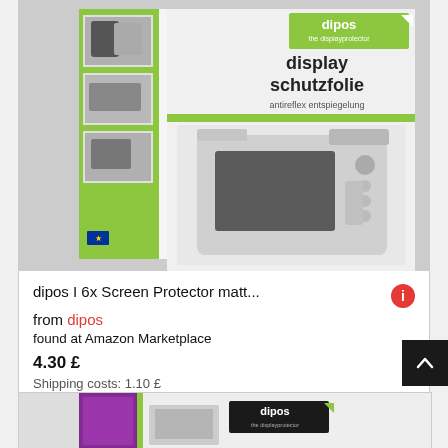[Figure (photo): Product packaging for dipos display schutzfolie (screen protector) showing the product box with camera image and small instructional photos on the left side. Green and white packaging with dipos logo.]
dipos I 6x Screen Protector matt...
from dipos
found at Amazon Marketplace
4.30 £
Shipping costs: 1.10 £
[Figure (photo): Partial view of another dipos product packaging, purple/dark pink with dipos logo, partially visible at bottom of page.]